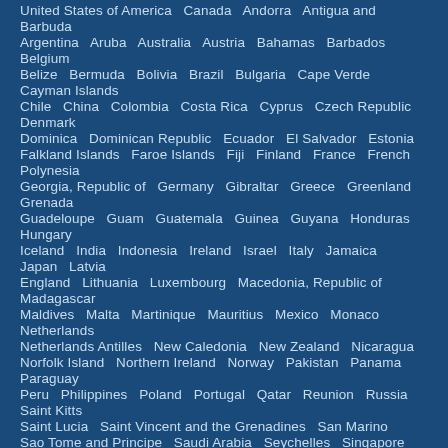United States of America  Canada  Andorra  Antigua and Barbuda
Argentina  Aruba  Australia  Austria  Bahamas  Barbados  Belgium
Belize  Bermuda  Bolivia  Brazil  Bulgaria  Cape Verde  Cayman Islands
Chile  China  Colombia  Costa Rica  Cyprus  Czech Republic  Denmark
Dominica  Dominican Republic  Ecuador  El Salvador  Estonia
Falkland Islands  Faroe Islands  Fiji  Finland  France  French Polynesia
Georgia, Republic of  Germany  Gibraltar  Greece  Greenland  Grenada
Guadeloupe  Guam  Guatemala  Guinea  Guyana  Honduras  Hungary
Iceland  India  Indonesia  Ireland  Israel  Italy  Jamaica  Japan  Latvia
England  Lithuania  Luxembourg  Macedonia, Republic of  Madagascar
Maldives  Malta  Martinique  Mauritius  Mexico  Monaco  Netherlands
Netherlands Antilles  New Caledonia  New Zealand  Nicaragua
Norfolk Island  Northern Ireland  Norway  Pakistan  Panama  Paraguay
Peru  Philippines  Poland  Portugal  Qatar  Reunion  Russia  Saint Kitts
Saint Lucia  Saint Vincent and the Grenadines  San Marino
Sao Tome and Principe  Saudi Arabia  Seychelles  Singapore
Slovak Republic  Slovenia  Solomon Islands  South Africa  Spain
Sri Lanka  Saint Helena  Saint Pierre and Miquelon  Suriname  Sweden